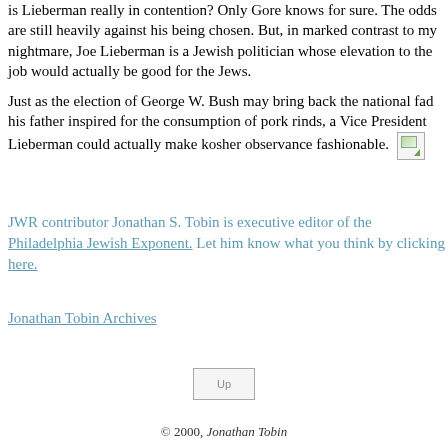is Lieberman really in contention? Only Gore knows for sure. The odds are still heavily against his being chosen. But, in marked contrast to my nightmare, Joe Lieberman is a Jewish politician whose elevation to the job would actually be good for the Jews.
Just as the election of George W. Bush may bring back the national fad his father inspired for the consumption of pork rinds, a Vice President Lieberman could actually make kosher observance fashionable.
JWR contributor Jonathan S. Tobin is executive editor of the Philadelphia Jewish Exponent. Let him know what you think by clicking here.
Jonathan Tobin Archives
[Figure (illustration): Up arrow image (broken image placeholder labeled 'Up')]
© 2000, Jonathan Tobin